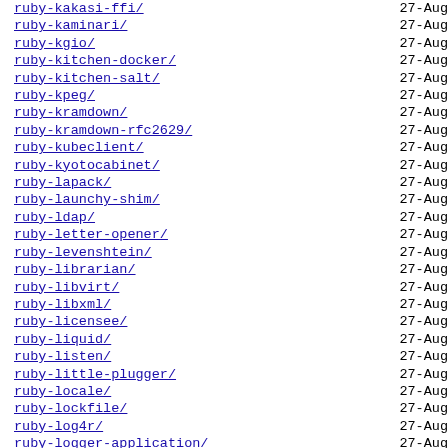ruby-kakasi-ffi/  27-Aug
ruby-kaminari/  27-Aug
ruby-kgio/  27-Aug
ruby-kitchen-docker/  27-Aug
ruby-kitchen-salt/  27-Aug
ruby-kpeg/  27-Aug
ruby-kramdown/  27-Aug
ruby-kramdown-rfc2629/  27-Aug
ruby-kubeclient/  27-Aug
ruby-kyotocabinet/  27-Aug
ruby-lapack/  27-Aug
ruby-launchy-shim/  27-Aug
ruby-ldap/  27-Aug
ruby-letter-opener/  27-Aug
ruby-levenshtein/  27-Aug
ruby-librarian/  27-Aug
ruby-libvirt/  27-Aug
ruby-libxml/  27-Aug
ruby-licensee/  27-Aug
ruby-liquid/  27-Aug
ruby-listen/  27-Aug
ruby-little-plugger/  27-Aug
ruby-locale/  27-Aug
ruby-lockfile/  27-Aug
ruby-log4r/  27-Aug
ruby-logger-application/  27-Aug
ruby-logging/  27-Aug
ruby-logging-rails/  27-Aug
ruby-logify/  27-Aug
ruby-lograge/  27-Aug